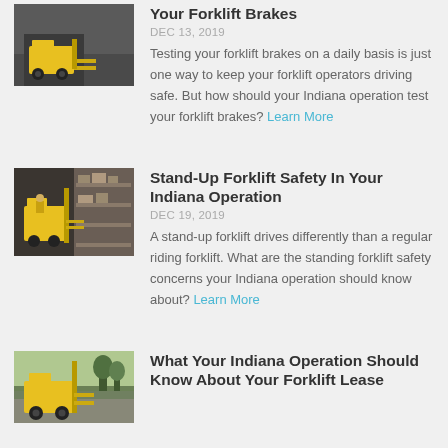[Figure (photo): Forklift in warehouse or outdoor setting]
Your Forklift Brakes
DEC 13, 2019
Testing your forklift brakes on a daily basis is just one way to keep your forklift operators driving safe. But how should your Indiana operation test your forklift brakes? Learn More
[Figure (photo): Stand-up forklift in warehouse aisle with shelves]
Stand-Up Forklift Safety In Your Indiana Operation
DEC 19, 2019
A stand-up forklift drives differently than a regular riding forklift. What are the standing forklift safety concerns your Indiana operation should know about? Learn More
[Figure (photo): Forklift outdoors near trees]
What Your Indiana Operation Should Know About Your Forklift Lease